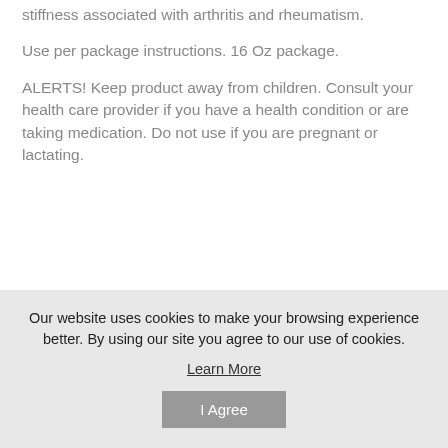stiffness associated with arthritis and rheumatism.
Use per package instructions. 16 Oz package.
ALERTS! Keep product away from children. Consult your health care provider if you have a health condition or are taking medication. Do not use if you are pregnant or lactating.
Our website uses cookies to make your browsing experience better. By using our site you agree to our use of cookies.
Learn More
I Agree